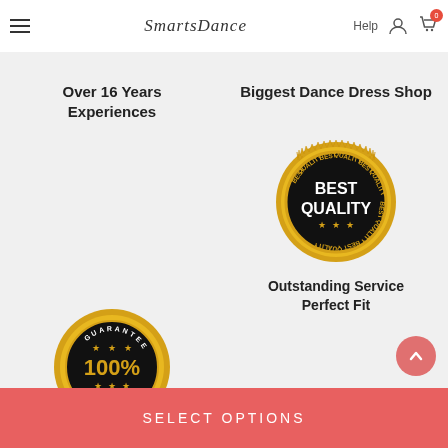SmartsDance — Help, account, cart navigation
Over 16 Years Experiences
Biggest Dance Dress Shop
[Figure (illustration): Gold and black 'Best Quality' seal badge with text BEST QUALITY repeated around the border and three stars]
Outstanding Service Perfect Fit
[Figure (illustration): Gold and black 'Guarantee 100%' seal badge with stars]
SELECT OPTIONS